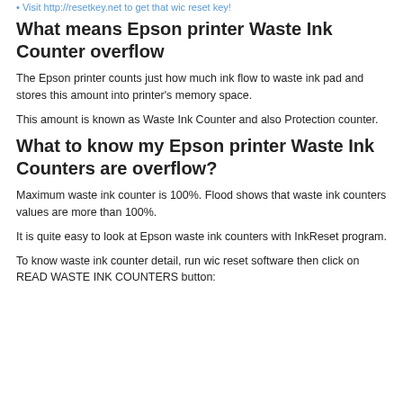Visit http://resetkey.net to get that wic reset key!
What means Epson printer Waste Ink Counter overflow
The Epson printer counts just how much ink flow to waste ink pad and stores this amount into printer's memory space.
This amount is known as Waste Ink Counter and also Protection counter.
What to know my Epson printer Waste Ink Counters are overflow?
Maximum waste ink counter is 100%. Flood shows that waste ink counters values are more than 100%.
It is quite easy to look at Epson waste ink counters with InkReset program.
To know waste ink counter detail, run wic reset software then click on READ WASTE INK COUNTERS button: